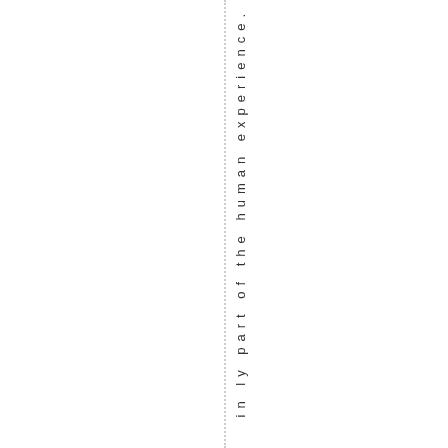in ly part of the human experience.